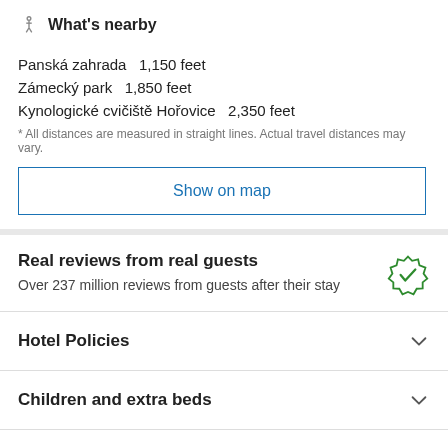What's nearby
Panská zahrada  1,150 feet
Zámecký park  1,850 feet
Kynologické cvičiště Hořovice  2,350 feet
* All distances are measured in straight lines. Actual travel distances may vary.
Show on map
Real reviews from real guests
Over 237 million reviews from guests after their stay
Hotel Policies
Children and extra beds
Contacting the property